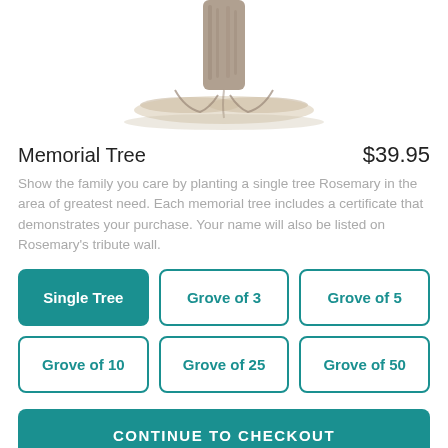[Figure (illustration): Pencil drawing of a tree trunk with roots at the bottom, cropped so only the lower trunk and base are visible]
Memorial Tree
$39.95
Show the family you care by planting a single tree Rosemary in the area of greatest need. Each memorial tree includes a certificate that demonstrates your purchase. Your name will also be listed on Rosemary's tribute wall.
Single Tree
Grove of 3
Grove of 5
Grove of 10
Grove of 25
Grove of 50
CONTINUE TO CHECKOUT